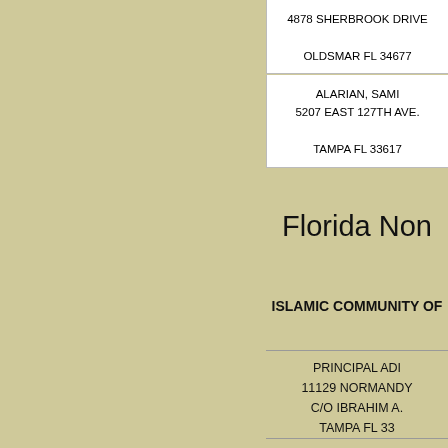4878 SHERBROOK DRIVE

OLDSMAR FL 34677
ALARIAN, SAMI
5207 EAST 127TH AVE.

TAMPA FL 33617
Florida Non
ISLAMIC COMMUNITY OF
PRINCIPAL ADD
11129 NORMANDY
C/O IBRAHIM A.
TAMPA FL 33
MAILING ADD
11129 NORMANDY
C/O IBRAHIM A.
TAMPA FL 33